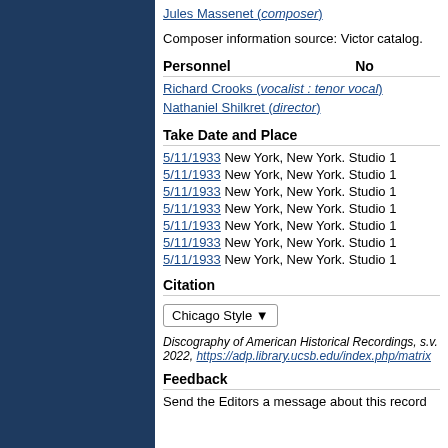Jules Massenet (composer)
Composer information source: Victor catalog.
Personnel  No
Richard Crooks (vocalist : tenor vocal)
Nathaniel Shilkret (director)
Take Date and Place
5/11/1933 New York, New York. Studio 1
5/11/1933 New York, New York. Studio 1
5/11/1933 New York, New York. Studio 1
5/11/1933 New York, New York. Studio 1
5/11/1933 New York, New York. Studio 1
5/11/1933 New York, New York. Studio 1
5/11/1933 New York, New York. Studio 1
Citation
Chicago Style ▾
Discography of American Historical Recordings, s.v. 2022, https://adp.library.ucsb.edu/index.php/matrix
Feedback
Send the Editors a message about this record